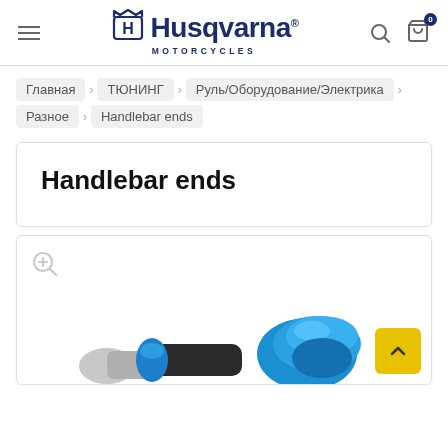Husqvarna Motorcycles — navigation header with hamburger menu, logo, search and cart icons
Главная / ТЮНИНГ / Руль/Оборудование/Электрика / Разное / Handlebar ends
Handlebar ends
[Figure (photo): Close-up photo of Husqvarna handlebar ends — two blue anodized aluminum handlebar end weights with black rubber inserts, shown against a white background. A zoom/magnify icon appears in the top-left corner of the image frame.]